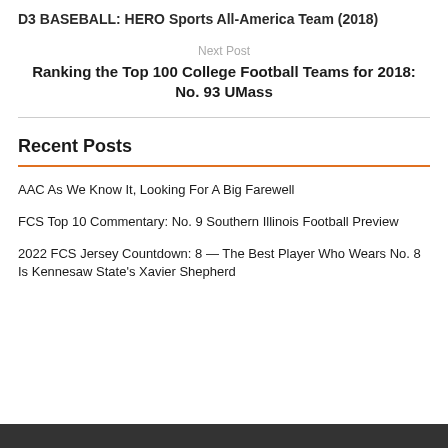D3 BASEBALL: HERO Sports All-America Team (2018)
Next Post
Ranking the Top 100 College Football Teams for 2018: No. 93 UMass
Recent Posts
AAC As We Know It, Looking For A Big Farewell
FCS Top 10 Commentary: No. 9 Southern Illinois Football Preview
2022 FCS Jersey Countdown: 8 — The Best Player Who Wears No. 8 Is Kennesaw State's Xavier Shepherd